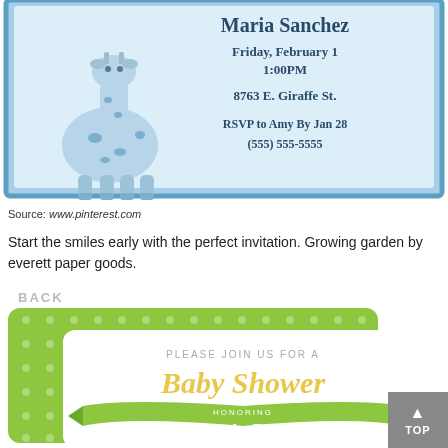[Figure (illustration): Baby shower invitation with blue giraffe on left side. Text reads: Maria Sanchez, Friday, February 1, 1:00PM, 8763 E. Giraffe St., RSVP to Amy By Jan 28, (555) 555-5555. Blue border frame.]
Source: www.pinterest.com
Start the smiles early with the perfect invitation. Growing garden by everett paper goods.
BACK
[Figure (illustration): Baby shower invitation card on green polka-dot background. Text reads: PLEASE JOIN US FOR A Baby Shower HONORING Amanda Pickett SATURDAY, OCTOBER 4TH (and more text cut off). Green and yellow color scheme.]